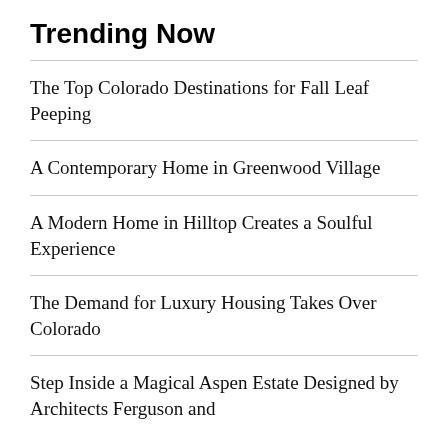Trending Now
The Top Colorado Destinations for Fall Leaf Peeping
A Contemporary Home in Greenwood Village
A Modern Home in Hilltop Creates a Soulful Experience
The Demand for Luxury Housing Takes Over Colorado
Step Inside a Magical Aspen Estate Designed by Architects Ferguson and